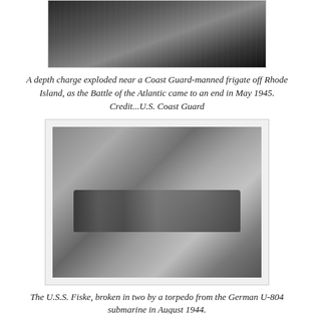[Figure (photo): Black and white photograph of a depth charge explosion near a Coast Guard-manned frigate off Rhode Island, May 1945. Ocean spray and ship hull visible.]
A depth charge exploded near a Coast Guard-manned frigate off Rhode Island, as the Battle of the Atlantic came to an end in May 1945.
Credit...U.S. Coast Guard
[Figure (photo): Black and white aerial photograph of the U.S.S. Fiske, broken in two by a torpedo from the German U-804 submarine in August 1944. The ship is shown from above on the ocean surface.]
The U.S.S. Fiske, broken in two by a torpedo from the German U-804 submarine in August 1944.
Credit...U.S. Navy